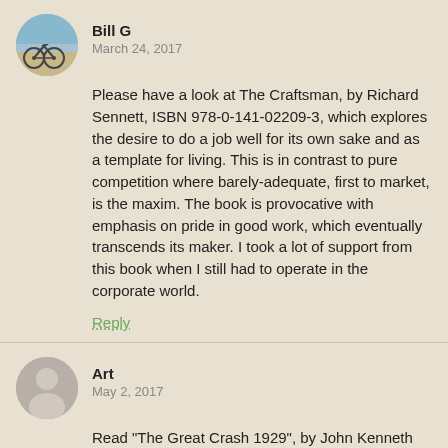Bill G
March 24, 2017
Please have a look at The Craftsman, by Richard Sennett, ISBN 978-0-141-02209-3, which explores the desire to do a job well for its own sake and as a template for living. This is in contrast to pure competition where barely-adequate, first to market, is the maxim. The book is provocative with emphasis on pride in good work, which eventually transcends its maker. I took a lot of support from this book when I still had to operate in the corporate world.
Reply
Art
May 2, 2017
Read "The Great Crash 1929", by John Kenneth Galbraith for a great lesson on the perils of overleveraging / margin. Written in 1955, he goes back and looks at the mania leading up to the great crash that preceded (but did not cause) the Great Depression. Also, how lack of transparency in financial corporations. And how collusion can bring down very large institutions. Galbraith is a very good, and funny, writer. It is interesting to see how primitive Wall Street rules were at the time.